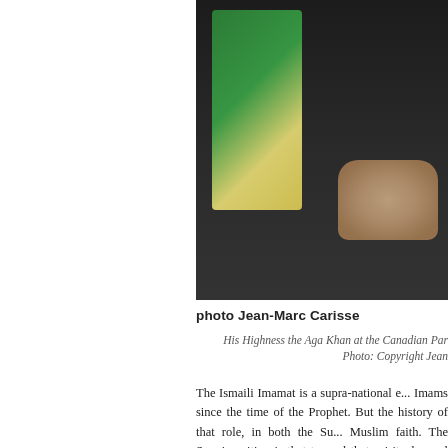[Figure (photo): Photograph of His Highness the Aga Khan at the Canadian Parliament, wearing dark clothing, with a green flag visible in the background and hands clasped in front. Photo by Jean-Marc Carisse.]
photo Jean-Marc Carisse
His Highness the Aga Khan at the Canadian Par...
Photo: Copyright Jean...
The Ismaili Imamat is a supra-national e... Imams since the time of the Prophet. But the history of that role, in both the Su... Muslim faith. The Sunni position is that t... and that spiritual-moral authority belongs...